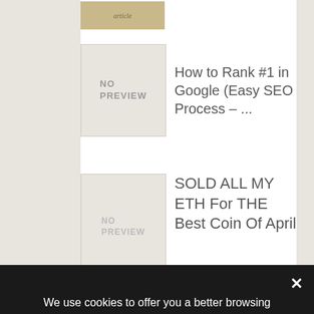[Figure (screenshot): Website listing card showing 'NO PREVIEW' thumbnail for article titled 'How to Rank #1 in Google (Easy SEO Process – ...']
[Figure (screenshot): Website listing card showing 'NO PREVIEW' thumbnail for article titled 'SOLD ALL MY ETH For THE Best Coin Of April']
We use cookies to offer you a better browsing experience, analyze site traffic, personalize content, and serve targeted advertisements. Read about how we use cookies and how you can control them by clicking "Privacy Preferences". If you continue to use this site, you consent to our use of cookies.
❯ Privacy Preferences
I Agree